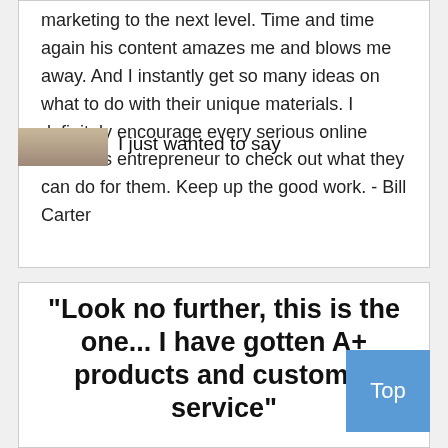marketing to the next level. Time and time again his content amazes me and blows me away. And I instantly get so many ideas on what to do with their unique materials. I definitely encourage every serious online business entrepreneur to check out what they can do for them. Keep up the good work. - Bill Carter
"Look no further, this is the one... I have gotten A+ products and customer service"
I just wanted to say